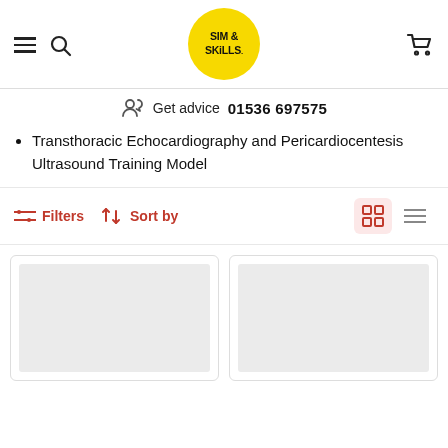SIM & SKILLS
Get advice  01536 697575
Transthoracic Echocardiography and Pericardiocentesis Ultrasound Training Model
Filters  Sort by
[Figure (screenshot): Two product card placeholders shown in grid view, with grey image placeholder boxes]